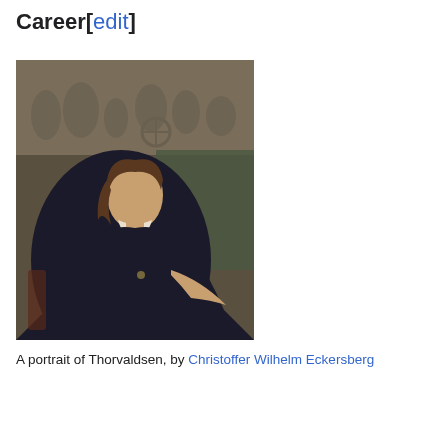Career[edit]
[Figure (photo): A portrait painting of Thorvaldsen, a man with long brown hair wearing a dark robe, seated in front of a relief sculpture background. Painted by Christoffer Wilhelm Eckersberg.]
A portrait of Thorvaldsen, by Christoffer Wilhelm Eckersberg